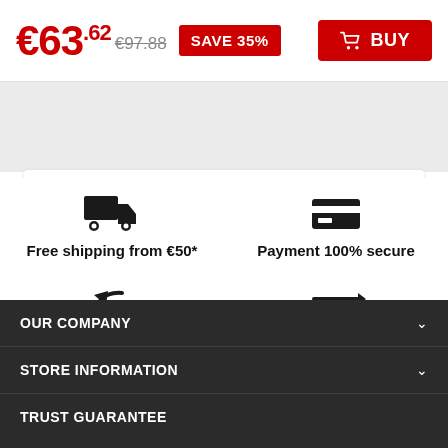€63.62  €97.88  SAVE 35%  BUY
Free shipping from €50*
Payment 100% secure
Returns
Change of product
OUR COMPANY
STORE INFORMATION
TRUST GUARANTEE